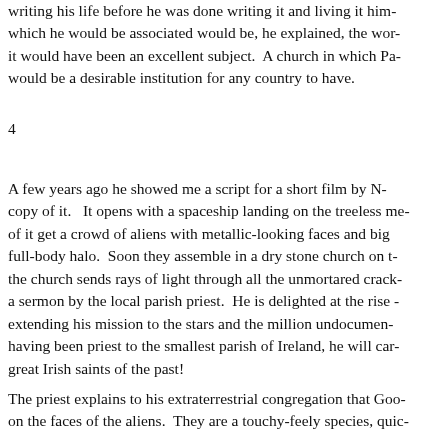writing his life before he was done writing it and living it him- which he would be associated would be, he explained, the wor- it would have been an excellent subject.  A church in which Pa- would be a desirable institution for any country to have.
4
A few years ago he showed me a script for a short film by N- copy of it.   It opens with a spaceship landing on the treeless me- of it get a crowd of aliens with metallic-looking faces and big full-body halo.  Soon they assemble in a dry stone church on t- the church sends rays of light through all the unmortared crack- a sermon by the local parish priest.  He is delighted at the rise - extending his mission to the stars and the million undocumen- having been priest to the smallest parish of Ireland, he will car- great Irish saints of the past!
The priest explains to his extraterrestrial congregation that Goo- on the faces of the aliens.  They are a touchy-feely species, quic-